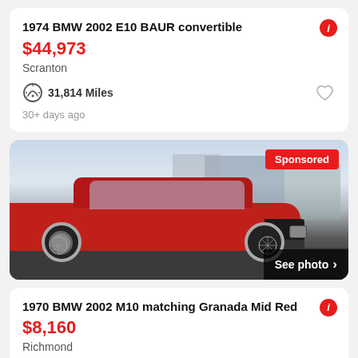1974 BMW 2002 E10 BAUR convertible
$44,973
Scranton
31,814 Miles
30+ days ago
[Figure (photo): Red classic BMW 2002 coupe viewed from the front-left angle, parked in a residential area. Has wire wheels. Sponsored label in top-right. See photo button in bottom-right.]
1970 BMW 2002 M10 matching Granada Mid Red
$8,160
Richmond